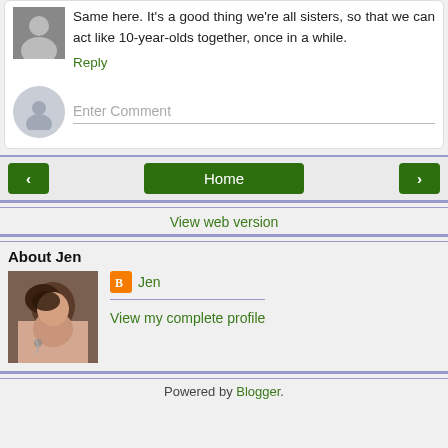Same here. It's a good thing we're all sisters, so that we can act like 10-year-olds together, once in a while.
Reply
Enter Comment
Home
View web version
About Jen
[Figure (photo): Profile photo of Jen, a woman with dark short hair holding a phone to her ear]
Jen
View my complete profile
Powered by Blogger.